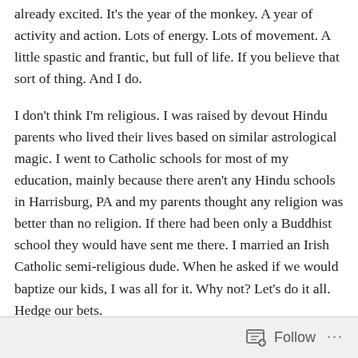already excited. It's the year of the monkey. A year of activity and action. Lots of energy. Lots of movement. A little spastic and frantic, but full of life. If you believe that sort of thing. And I do.
I don't think I'm religious. I was raised by devout Hindu parents who lived their lives based on similar astrological magic. I went to Catholic schools for most of my education, mainly because there aren't any Hindu schools in Harrisburg, PA and my parents thought any religion was better than no religion. If there had been only a Buddhist school they would have sent me there. I married an Irish Catholic semi-religious dude. When he asked if we would baptize our kids, I was all for it. Why not? Let's do it all. Hedge our bets.
Follow